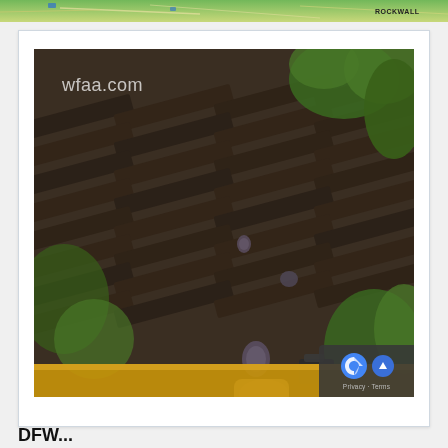[Figure (screenshot): Top portion of a webpage showing a weather map with green terrain and 'ROCKWALL' label visible at top]
[Figure (screenshot): Video still from wfaa.com showing hail stones bouncing off a dark shingled roof with green foliage visible. Watermark 'wfaa.com' in upper left of video frame.]
DFW...